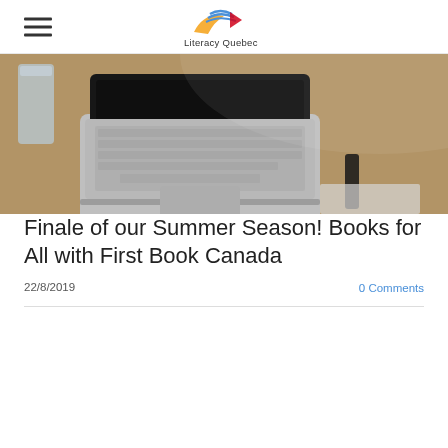Literacy Quebec
[Figure (photo): Laptop computer on a wooden desk with a glass of water and a pen and notebook in the background, shallow depth of field]
Finale of our Summer Season! Books for All with First Book Canada
22/8/2019
0 Comments